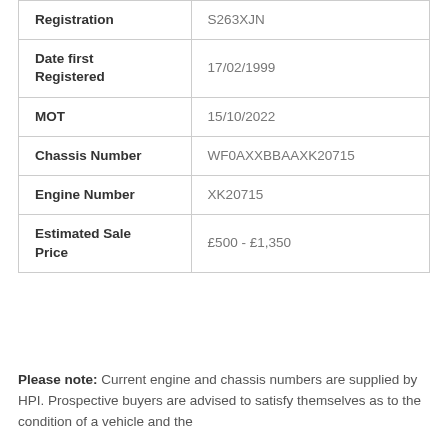| Registration | S263XJN |
| Date first Registered | 17/02/1999 |
| MOT | 15/10/2022 |
| Chassis Number | WF0AXXBBAAXK20715 |
| Engine Number | XK20715 |
| Estimated Sale Price | £500 - £1,350 |
Please note: Current engine and chassis numbers are supplied by HPI. Prospective buyers are advised to satisfy themselves as to the condition of a vehicle and the